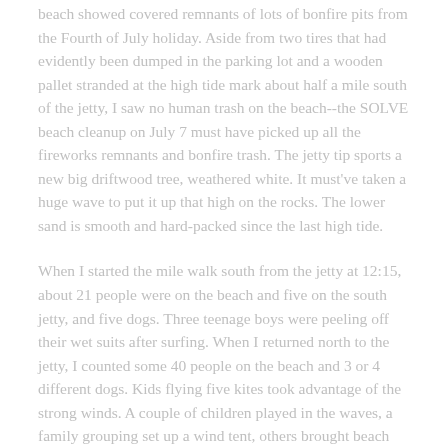beach showed covered remnants of lots of bonfire pits from the Fourth of July holiday. Aside from two tires that had evidently been dumped in the parking lot and a wooden pallet stranded at the high tide mark about half a mile south of the jetty, I saw no human trash on the beach--the SOLVE beach cleanup on July 7 must have picked up all the fireworks remnants and bonfire trash. The jetty tip sports a new big driftwood tree, weathered white. It must've taken a huge wave to put it up that high on the rocks. The lower sand is smooth and hard-packed since the last high tide.
When I started the mile walk south from the jetty at 12:15, about 21 people were on the beach and five on the south jetty, and five dogs. Three teenage boys were peeling off their wet suits after surfing. When I returned north to the jetty, I counted some 40 people on the beach and 3 or 4 different dogs. Kids flying five kites took advantage of the strong winds. A couple of children played in the waves, a family grouping set up a wind tent, others brought beach chairs and sat in groups up near the dunes. Most people just walked on the beach near the water. A couple of runners strode by, and one cyclist on a fat-tired bike rode up from the south to the jetty, then turned around and rode back south along the hard-packed beach. By the time I left at 1:30, two of the